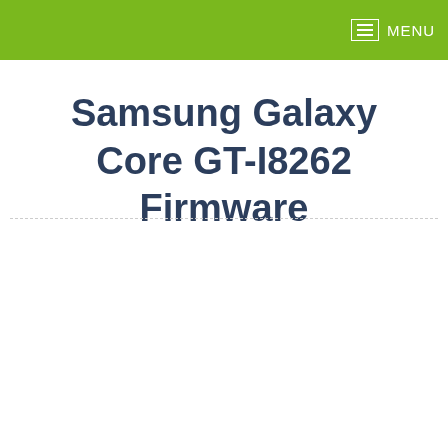MENU
Samsung Galaxy Core GT-I8262 Firmware